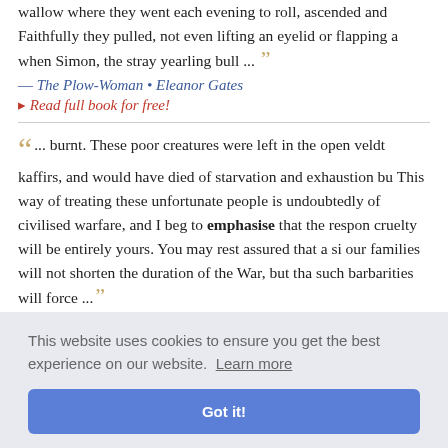wallow where they went each evening to roll, ascended and Faithfully they pulled, not even lifting an eyelid or flapping a when Simon, the stray yearling bull ...
— The Plow-Woman • Eleanor Gates
▸ Read full book for free!
"... burnt. These poor creatures were left in the open veldt kaffirs, and would have died of starvation and exhaustion bu This way of treating these unfortunate people is undoubtedly of civilised warfare, and I beg to emphasise that the respon cruelty will be entirely yours. You may rest assured that a si our families will not shorten the duration of the War, but tha such barbarities will force ..."
— My Reminiscences of the Anglo-Boer War • Ben Viljoen
dmit and co end, and a ne false." A eople ...
— An Englishman Looks at the World • H. G. Wells
This website uses cookies to ensure you get the best experience on our website. Learn more
Got it!